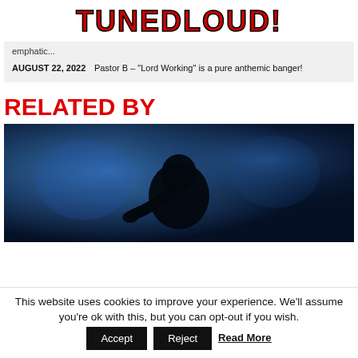TUNEDLOUD!
emphatic...
AUGUST 22, 2022  Pastor B – "Lord Working" is a pure anthemic banger!
RELATED BY
[Figure (photo): Dark blue-toned photo of a figure with head bowed, hand near face, dramatic moody lighting]
This website uses cookies to improve your experience. We'll assume you're ok with this, but you can opt-out if you wish. Accept Reject Read More